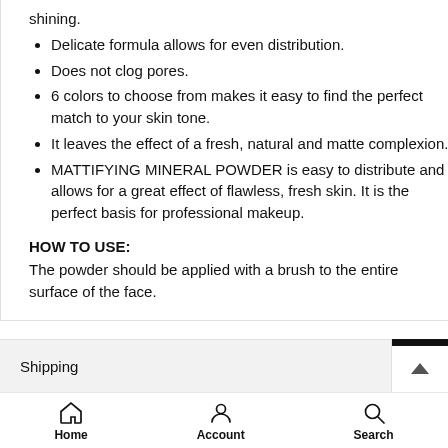shining.
Delicate formula allows for even distribution.
Does not clog pores.
6 colors to choose from makes it easy to find the perfect match to your skin tone.
It leaves the effect of a fresh, natural and matte complexion.
MATTIFYING MINERAL POWDER is easy to distribute and allows for a great effect of flawless, fresh skin. It is the perfect basis for professional makeup.
HOW TO USE:
The powder should be applied with a brush to the entire surface of the face.
Shipping
Home  Account  Search